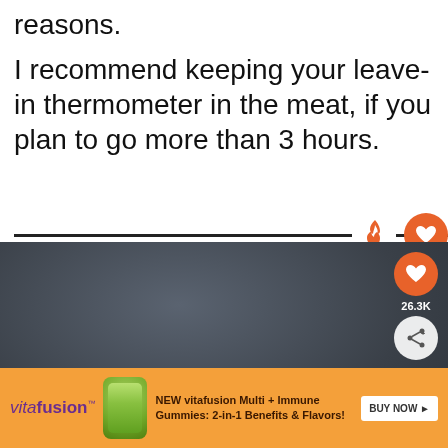reasons.
I recommend keeping your leave-in thermometer in the meat, if you plan to go more than 3 hours.
[Figure (screenshot): Video player area showing dark smoky BBQ content with orange flame divider, heart/like button (26.3K), share button, and 'What's Next → Hot and Fast Brisket' card overlay]
[Figure (infographic): Vitafusion advertisement banner: 'NEW vitafusion Multi + Immune Gummies: 2-in-1 Benefits & Flavors!' with BUY NOW button, orange background, bottle image, vitafusion logo in purple]